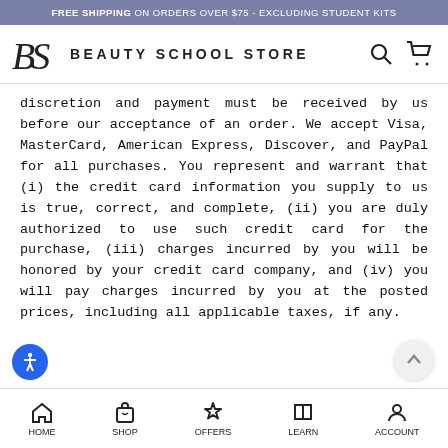FREE SHIPPING ON ORDERS OVER $75 - EXCLUDING STUDENT KITS
[Figure (logo): Beauty School Store logo with stylized BS monogram and text BEAUTY SCHOOL STORE, plus search and cart icons]
discretion and payment must be received by us before our acceptance of an order. We accept Visa, MasterCard, American Express, Discover, and PayPal for all purchases. You represent and warrant that (i) the credit card information you supply to us is true, correct, and complete, (ii) you are duly authorized to use such credit card for the purchase, (iii) charges incurred by you will be honored by your credit card company, and (iv) you will pay charges incurred by you at the posted prices, including all applicable taxes, if any.
HOME  SHOP  OFFERS  LEARN  ACCOUNT